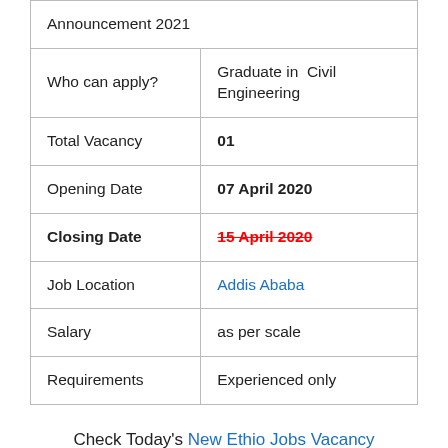| Announcement 2021 |  |
| Who can apply? | Graduate in  Civil Engineering |
| Total Vacancy | 01 |
| Opening Date | 07 April 2020 |
| Closing Date | 15 April 2020 |
| Job Location | Addis Ababa |
| Salary | as per scale |
| Requirements | Experienced only |
Check Today's New Ethio Jobs Vacancy